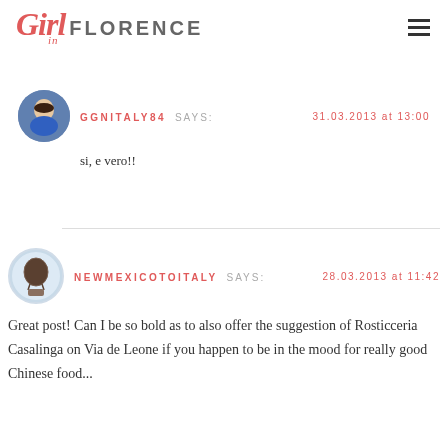Girl in Florence
GGNITALY84 SAYS: 31.03.2013 at 13:00
si, e vero!!
NEWMEXICOTOITALY SAYS: 28.03.2013 at 11:42
Great post! Can I be so bold as to also offer the suggestion of Rosticceria Casalinga on Via de Leone if you happen to be in the mood for really good Chinese food...